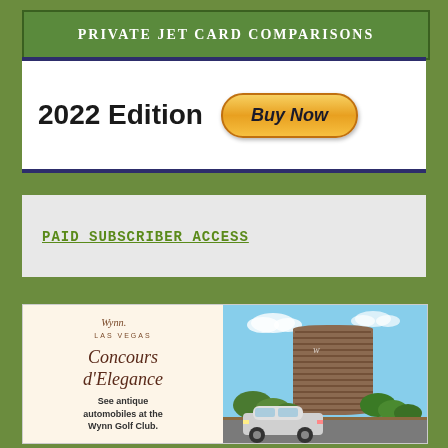Private Jet Card Comparisons
2022 Edition
Buy Now
PAID SUBSCRIBER ACCESS
[Figure (illustration): Wynn Las Vegas hotel advertisement showing the Wynn logo, 'Concours d'Elegance – See antique automobiles at the Wynn Golf Club.' text on left, and a photo of the Wynn hotel building with a classic car in front on the right.]